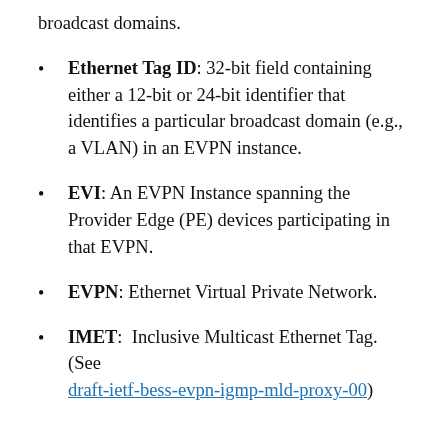broadcast domains.
Ethernet Tag ID: 32-bit field containing either a 12-bit or 24-bit identifier that identifies a particular broadcast domain (e.g., a VLAN) in an EVPN instance.
EVI: An EVPN Instance spanning the Provider Edge (PE) devices participating in that EVPN.
EVPN: Ethernet Virtual Private Network.
IMET: Inclusive Multicast Ethernet Tag. (See draft-ietf-bess-evpn-igmp-mld-proxy-00)